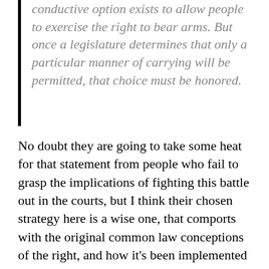conductive option exists to allow people to exercise the right to bear arms. But once a legislature determines that only a particular manner of carrying will be permitted, that choice must be honored.
No doubt they are going to take some heat for that statement from people who fail to grasp the implications of fighting this battle out in the courts, but I think their chosen strategy here is a wise one, that comports with the original common law conceptions of the right, and how it's been implemented in the American tradition. The state may regulate the manner of carry, but may not outright prohibit it. Under SAFE, and we'd say it would be...